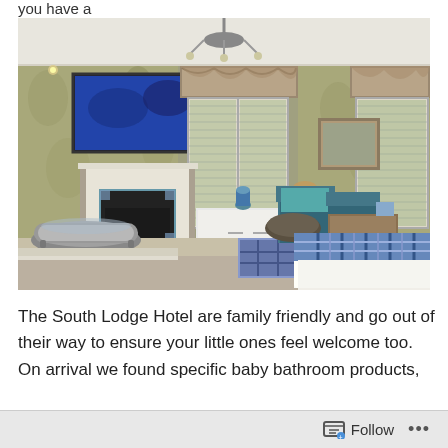you have a
[Figure (photo): Luxury hotel room at South Lodge Hotel featuring a large bed with blue tartan throw, freestanding bathtub, fireplace with TV above, patterned wallpaper, blue armchairs, wooden desk, and windows with floral curtain valances and venetian blinds.]
The South Lodge Hotel are family friendly and go out of their way to ensure your little ones feel welcome too. On arrival we found specific baby bathroom products,
Follow ...